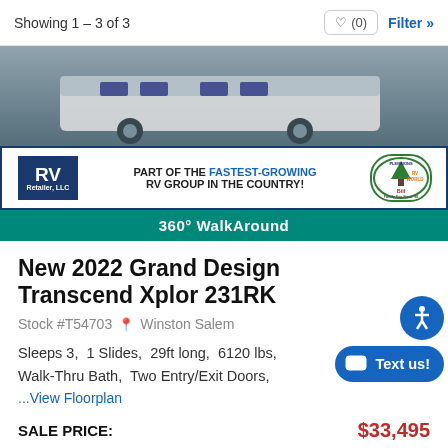Showing 1 – 3 of 3
[Figure (screenshot): RV dealer advertisement banner showing RV Retailer LLC logo, text 'PART OF THE FASTEST-GROWING RV GROUP IN THE COUNTRY!' and Bill Plemmons RV World logo, with a teal bar showing '360° WalkAround']
New 2022 Grand Design Transcend Xplor 231RK
Stock #T54703  Winston Salem
Sleeps 3,  1 Slides,  29ft long,  6120 lbs,  Walk-Thru Bath,  Two Entry/Exit Doors,
...View Floorplan
| Label | Value |
| --- | --- |
| SALE PRICE: | $33,495 |
| MSRP: | $40,344 |
| You Save: | $6,849 |